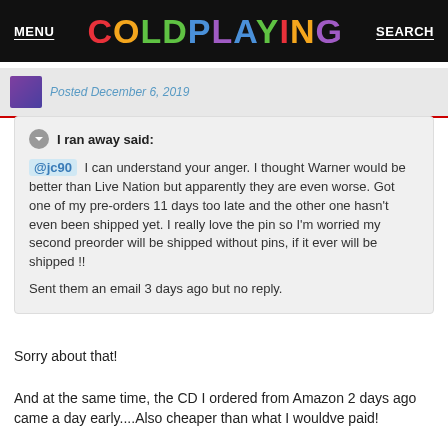MENU  COLDPLAYING  SEARCH
Posted December 6, 2019
I ran away said:
@jc90 I can understand your anger. I thought Warner would be better than Live Nation but apparently they are even worse. Got one of my pre-orders 11 days too late and the other one hasn't even been shipped yet. I really love the pin so I'm worried my second preorder will be shipped without pins, if it ever will be shipped !!

Sent them an email 3 days ago but no reply.
Sorry about that!
And at the same time, the CD I ordered from Amazon 2 days ago came a day early....Also cheaper than what I wouldve paid!